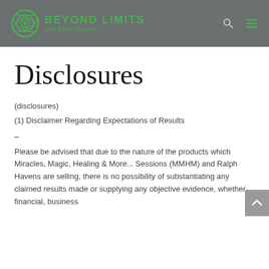BEYOND LIMITS with Ralph Havens
Disclosures
(disclosures)
(1) Disclaimer Regarding Expectations of Results
–
Please be advised that due to the nature of the products which Miracles, Magic, Healing & More... Sessions (MMHM) and Ralph Havens are selling, there is no possibility of substantiating any claimed results made or supplying any objective evidence, whether financial, business